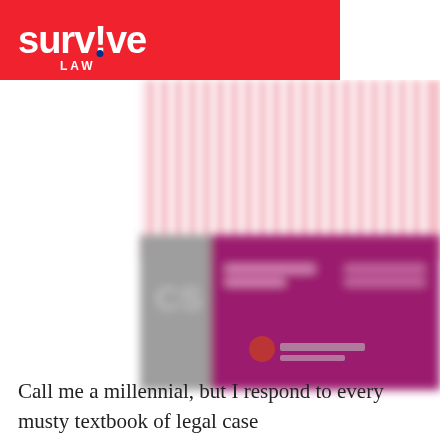survive LAW
[Figure (photo): Blurred book cover showing a Constitutional Law textbook with magenta/pink cover design and CS logo, with a LexisNexis publisher logo below]
Call me a millennial, but I respond to every musty textbook of legal case